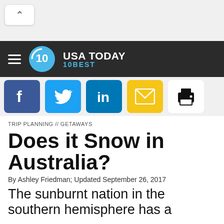[Figure (screenshot): Browser UI top area with back button arrow and light gray background]
USA TODAY 10BEST
[Figure (infographic): Social sharing icons bar: Facebook (blue), Twitter (blue), LinkedIn (blue), Email (yellow/gold), Print (black)]
TRIP PLANNING // GETAWAYS
Does it Snow in Australia?
By Ashley Friedman; Updated September 26, 2017
The sunburnt nation in the southern hemisphere has a